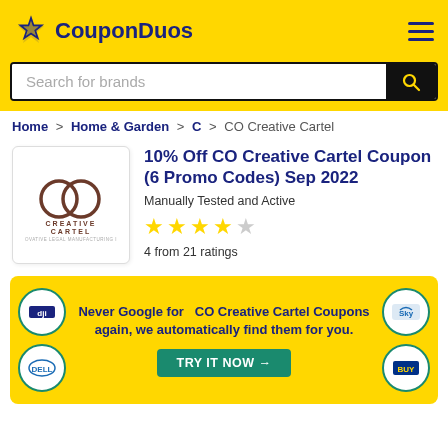CouponDuos
Search for brands
Home > Home & Garden > C > CO Creative Cartel
10% Off CO Creative Cartel Coupon (6 Promo Codes) Sep 2022
Manually Tested and Active
4 from 21 ratings
Never Google for CO Creative Cartel Coupons again, we automatically find them for you.
TRY IT NOW →